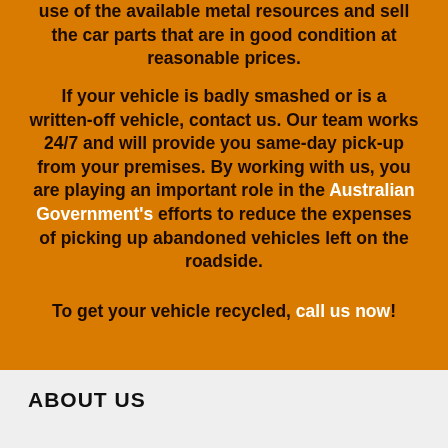use of the available metal resources and sell the car parts that are in good condition at reasonable prices.
If your vehicle is badly smashed or is a written-off vehicle, contact us. Our team works 24/7 and will provide you same-day pick-up from your premises. By working with us, you are playing an important role in the Australian Government's efforts to reduce the expenses of picking up abandoned vehicles left on the roadside.
To get your vehicle recycled, call us now!
ABOUT US